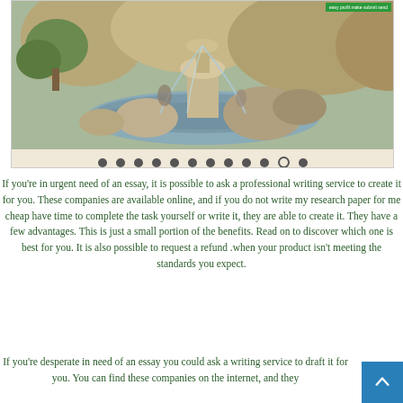[Figure (photo): A photograph of a stone fountain with water and greenery/rocky background, part of a slideshow with navigation dots below]
If you're in urgent need of an essay, it is possible to ask a professional writing service to create it for you. These companies are available online, and if you do not write my research paper for me cheap have time to complete the task yourself or write it, they are able to create it. They have a few advantages. This is just a small portion of the benefits. Read on to discover which one is best for you. It is also possible to request a refund when your product isn't meeting the standards you expect.
If you're desperate in need of an essay you could ask a writing service to draft it for you. You can find these companies on the internet, and they...